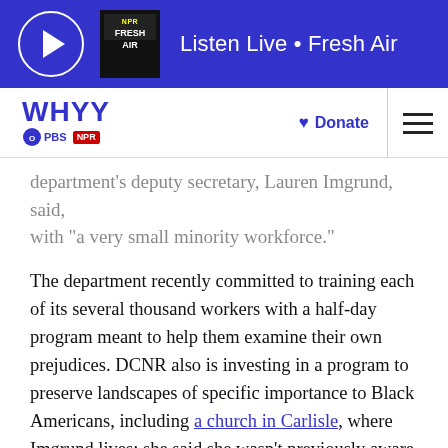Listen Live • Fresh Air
WHYY PBS NPR | ♥ Donate
department's deputy secretary, Lauren Imgrund, said, with "a very small minority workforce."
The department recently committed to training each of its several thousand workers with a half-day program meant to help them examine their own prejudices. DCNR also is investing in a program to preserve landscapes of specific importance to Black Americans, including a church in Carlisle, where Imgrund lives; she said she wasn't previously aware of its history.
Why have those stories gone untold?